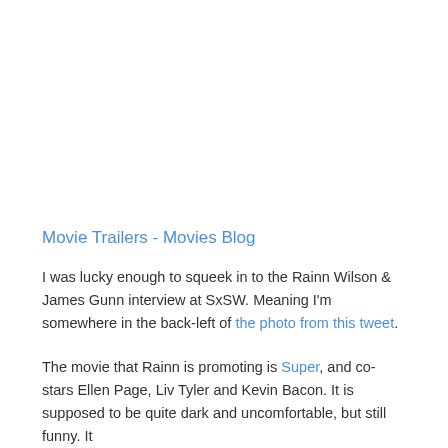Movie Trailers - Movies Blog
I was lucky enough to squeek in to the Rainn Wilson & James Gunn interview at SxSW. Meaning I'm somewhere in the back-left of the photo from this tweet.
The movie that Rainn is promoting is Super, and co-stars Ellen Page, Liv Tyler and Kevin Bacon. It is supposed to be quite dark and uncomfortable, but still funny. It